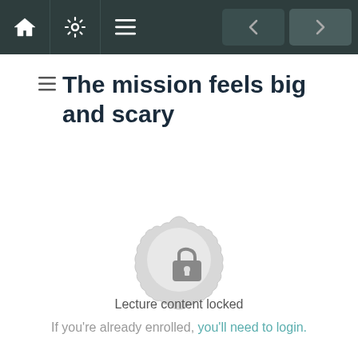Navigation bar with home, settings, menu icons and prev/next buttons
The mission feels big and scary
[Figure (illustration): Circular mandala/badge shape with a padlock icon in the center, rendered in light gray]
Lecture content locked
If you're already enrolled, you'll need to login.